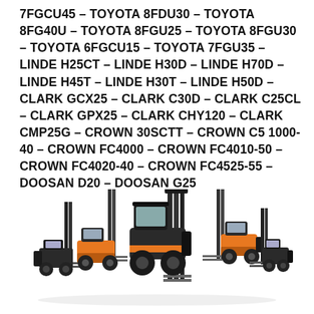7FGCU45 – TOYOTA 8FDU30 – TOYOTA 8FG40U – TOYOTA 8FGU25 – TOYOTA 8FGU30 – TOYOTA 6FGCU15 – TOYOTA 7FGU35 – LINDE H25CT – LINDE H30D – LINDE H70D – LINDE H45T – LINDE H30T – LINDE H50D – CLARK GCX25 – CLARK C30D – CLARK C25CL – CLARK GPX25 – CLARK CHY120 – CLARK CMP25G – CROWN 30SCTT – CROWN C5 1000-40 – CROWN FC4000 – CROWN FC4010-50 – CROWN FC4020-40 – CROWN FC4525-55 – DOOSAN D20 – DOOSAN G25
[Figure (illustration): Group of five forklifts in orange and black arranged together, including large industrial forklifts and smaller electric forklifts, all facing different directions.]